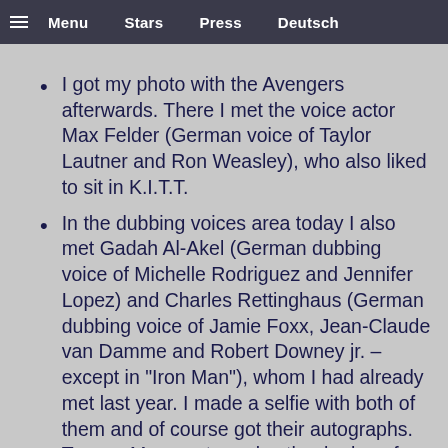≡ Menu   Stars   Press   Deutsch
I got my photo with the Avengers afterwards. There I met the voice actor Max Felder (German voice of Taylor Lautner and Ron Weasley), who also liked to sit in K.I.T.T.
In the dubbing voices area today I also met Gadah Al-Akel (German dubbing voice of Michelle Rodriguez and Jennifer Lopez) and Charles Rettinghaus (German dubbing voice of Jamie Foxx, Jean-Claude van Damme and Robert Downey jr. – except in "Iron Man"), whom I had already met last year. I made a selfie with both of them and of course got their autographs. Tommy Morgenstern also thanked me for being allowed to sit in K.I.T.T. with a message of the German voice of Ryan Gosling on my mobile phone for my wife and